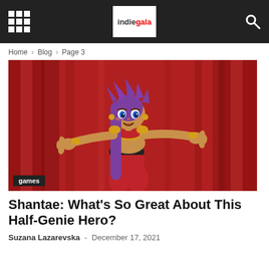indiegala
Home › Blog › Page 3
[Figure (illustration): Animated illustration of Shantae, a half-genie character with long purple hair, blue eyes, wearing a red belly-dancer outfit, posed with arms outstretched against a red curtain background. A 'games' label tag is shown in the lower-left corner of the image.]
Shantae: What's So Great About This Half-Genie Hero?
Suzana Lazarevska - December 17, 2021